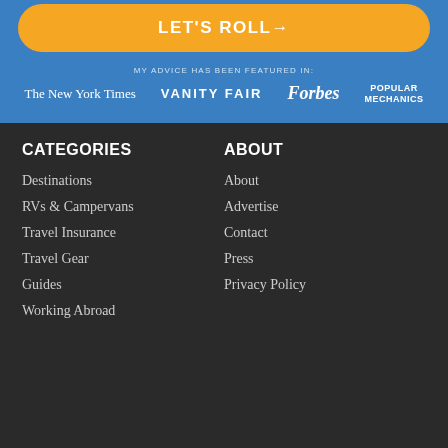LET'S ROLL →
MY ADVICE HAS BEEN FEATURED IN:
[Figure (logo): Logos: The New York Times, VANITY FAIR, Forbes, POPULAR MECHANICS]
CATEGORIES
ABOUT
Destinations
About
RVs & Campervans
Advertise
Travel Insurance
Contact
Travel Gear
Press
Guides
Privacy Policy
Working Abroad